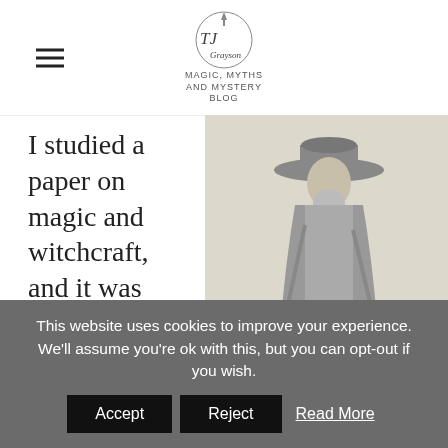TJ Grayson — Magic, Myths and Mystery Blog
I studied a paper on magic and witchcraft, and it was fascinating. I'll write a little bit more about magic in my next blog.
[Figure (illustration): Historical engraving of Matthew Hopkins, Witch-Finder General, holding a staff and wearing a wide-brimmed hat and cloak. Caption reads: MATTHEW HOPKINS, OF MANNINGTREE, ESSEX, THE CELEBRATED WITCH-FINDER, FROM A VERY RARE PRINT IN THE PEPYSIAN LIBRARY, AT MAGDALENE COLLEGE, CAMBRIDGE.]
This website uses cookies to improve your experience. We'll assume you're ok with this, but you can opt-out if you wish. Accept Reject Read More